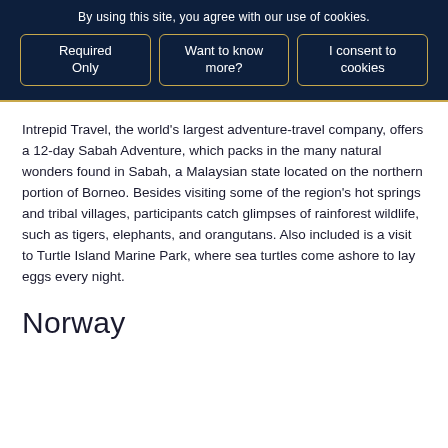By using this site, you agree with our use of cookies.
Required Only
Want to know more?
I consent to cookies
Intrepid Travel, the world's largest adventure-travel company, offers a 12-day Sabah Adventure, which packs in the many natural wonders found in Sabah, a Malaysian state located on the northern portion of Borneo. Besides visiting some of the region's hot springs and tribal villages, participants catch glimpses of rainforest wildlife, such as tigers, elephants, and orangutans. Also included is a visit to Turtle Island Marine Park, where sea turtles come ashore to lay eggs every night.
Norway